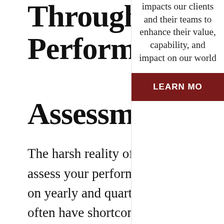Through Performance Assessment
The harsh reality of being a leader is that you have to assess your performance. For many of us, we rely solely on yearly and quarterly reports. However, these reports often have shortcomings and do not paint a complete picture of how we are doing at our job. When we receive a report on
impacts our clients and their teams to enhance their value, capability, and impact on our world
LEARN MO